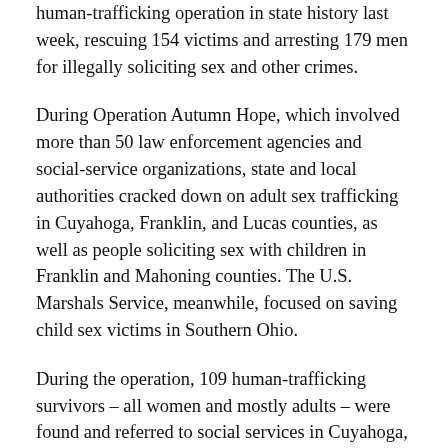human-trafficking operation in state history last week, rescuing 154 victims and arresting 179 men for illegally soliciting sex and other crimes.
During Operation Autumn Hope, which involved more than 50 law enforcement agencies and social-service organizations, state and local authorities cracked down on adult sex trafficking in Cuyahoga, Franklin, and Lucas counties, as well as people soliciting sex with children in Franklin and Mahoning counties. The U.S. Marshals Service, meanwhile, focused on saving child sex victims in Southern Ohio.
During the operation, 109 human-trafficking survivors – all women and mostly adults – were found and referred to social services in Cuyahoga,